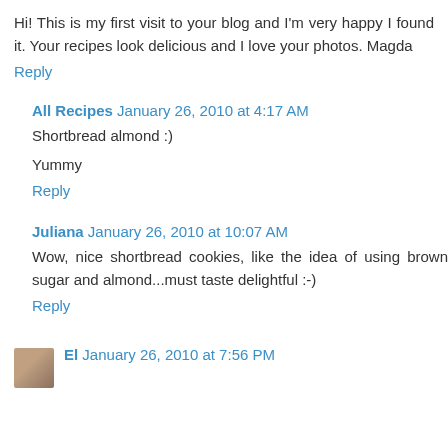Hi! This is my first visit to your blog and I'm very happy I found it. Your recipes look delicious and I love your photos. Magda
Reply
All Recipes  January 26, 2010 at 4:17 AM
Shortbread almond :)
Yummy
Reply
Juliana  January 26, 2010 at 10:07 AM
Wow, nice shortbread cookies, like the idea of using brown sugar and almond...must taste delightful :-)
Reply
El  January 26, 2010 at 7:56 PM